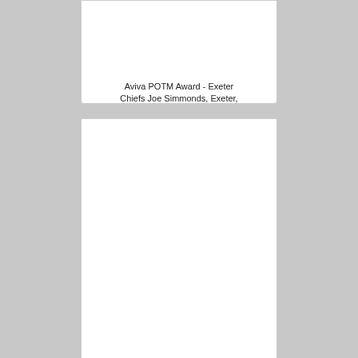[Figure (photo): Card with image area - Aviva POTM Award photo card top]
Aviva POTM Award - Exeter Chiefs Joe Simmonds, Exeter,
[Figure (photo): Card with image area - Aviva POTM Award photo card middle]
Aviva POTM Award - Exeter Chiefs Joe Simmonds, Exeter,
[Figure (photo): Card with image area - Aviva POTM Award photo card bottom (partial)]